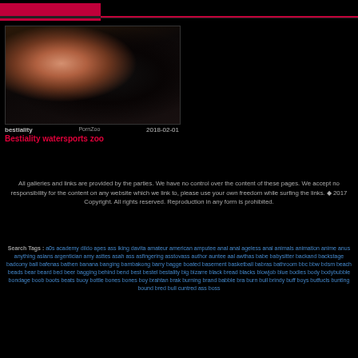[Figure (photo): Thumbnail image with dark tones]
bestiality   PornZoo   2018-02-01
Bestiality watersports zoo
All galleries and links are provided by the parties. We have no control over the content of these pages. We accept no responsibility for the content on any website which we link to, please use your own freedom while surfing the links. ♢ 2017 Copyright. All rights reserved. Reproduction in any form is prohibited.
Search Tags : a0s academy dildo apes ass iking davita amateur american amputee anal anal ageless anal animals animation anime anus anything asians argentician amy asttes asah ass asfingering asstovass author auntee aal awthas babe babysitter backand backstage badcony ball bafenas bathen banana banging bambakong barry bagge boated basement basketball babras bathroom bbc bbw bdsm beach beads bear beard bed beer bagging behind bend best bestel bestality big bizarre black bread blacks blowjob blue bodies body bodybubble bondage boob boots beats buoy bottle bones bones boy brahtan brak burning brand babble bra burn bull brindy buff boys butfucls bunting bound bred bull cuntred ass boss